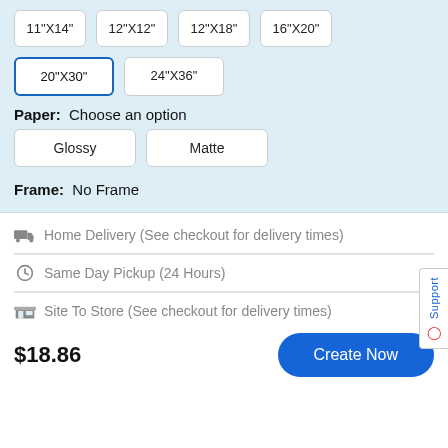11"X14"
12"X12"
12"X18"
16"X20"
20"X30" (selected)
24"X36"
Paper: Choose an option
Glossy
Matte
Frame: No Frame
Home Delivery (See checkout for delivery times)
Same Day Pickup (24 Hours)
Site To Store (See checkout for delivery times)
$18.86
Create Now